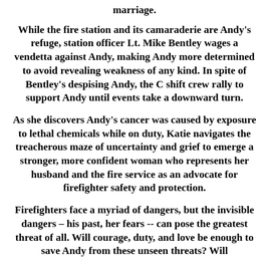marriage.
While the fire station and its camaraderie are Andy’s refuge, station officer Lt. Mike Bentley wages a vendetta against Andy, making Andy more determined to avoid revealing weakness of any kind. In spite of Bentley’s despising Andy, the C shift crew rally to support Andy until events take a downward turn.
As she discovers Andy’s cancer was caused by exposure to lethal chemicals while on duty, Katie navigates the treacherous maze of uncertainty and grief to emerge a stronger, more confident woman who represents her husband and the fire service as an advocate for firefighter safety and protection.
Firefighters face a myriad of dangers, but the invisible dangers – his past, her fears -- can pose the greatest threat of all. Will courage, duty, and love be enough to save Andy from these unseen threats? Will them to emerge the forward his/our this life